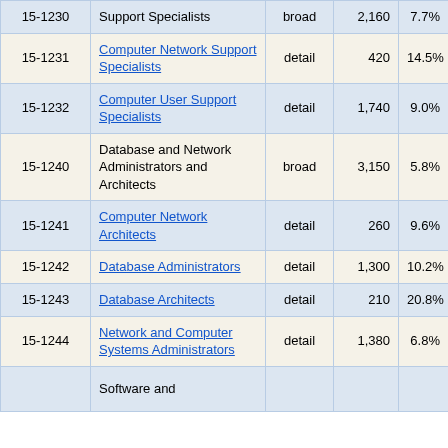| Code | Occupation | Level | Employment | % Change |
| --- | --- | --- | --- | --- |
| 15-1230 | Support Specialists | broad | 2,160 | 7.7% |
| 15-1231 | Computer Network Support Specialists | detail | 420 | 14.5% |
| 15-1232 | Computer User Support Specialists | detail | 1,740 | 9.0% |
| 15-1240 | Database and Network Administrators and Architects | broad | 3,150 | 5.8% |
| 15-1241 | Computer Network Architects | detail | 260 | 9.6% |
| 15-1242 | Database Administrators | detail | 1,300 | 10.2% |
| 15-1243 | Database Architects | detail | 210 | 20.8% |
| 15-1244 | Network and Computer Systems Administrators | detail | 1,380 | 6.8% |
|  | Software and ... |  |  |  |